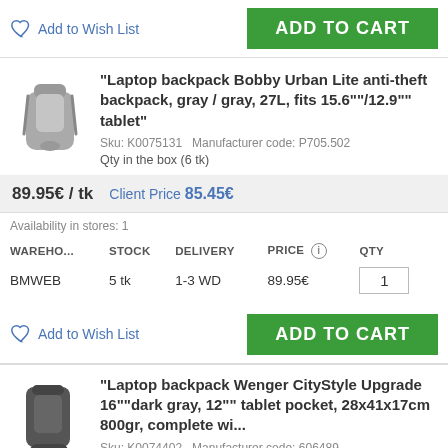Add to Wish List
ADD TO CART
[Figure (photo): Gray laptop backpack Bobby Urban Lite]
"Laptop backpack Bobby Urban Lite anti-theft backpack, gray / gray, 27L, fits 15.6""/12.9"" tablet"
Sku: K0075131   Manufacturer code: P705.502
Qty in the box (6 tk)
89.95€ / tk   Client Price 85.45€
Availability in stores: 1
| WAREHO... | STOCK | DELIVERY | PRICE | QTY |
| --- | --- | --- | --- | --- |
| BMWEB | 5 tk | 1-3 WD | 89.95€ | 1 |
Add to Wish List
ADD TO CART
[Figure (photo): Dark gray Wenger CityStyle laptop backpack]
"Laptop backpack Wenger CityStyle Upgrade 16""dark gray, 12"" tablet pocket, 28x41x17cm 800gr, complete wi...
Sku: K0074402   Manufacturer code: 606489